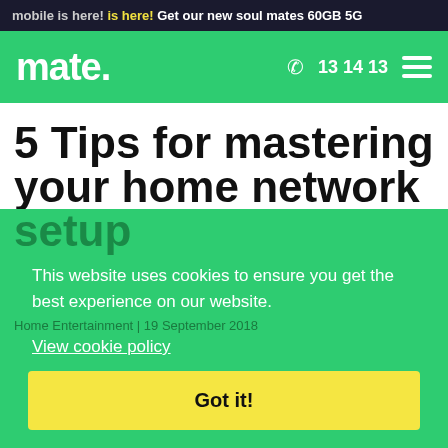mobile is here! Get our new soul mates 60GB 5G
[Figure (logo): mate. logo in white on green navigation bar with phone number 13 14 13 and hamburger menu]
5 Tips for mastering your home network setup
This website uses cookies to ensure you get the best experience on our website.
View cookie policy
Home Entertainment | 19 September 2018
Got it!